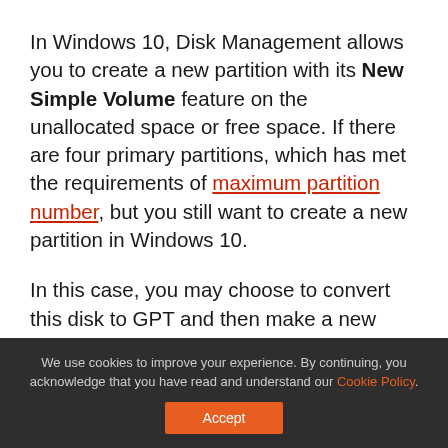In Windows 10, Disk Management allows you to create a new partition with its New Simple Volume feature on the unallocated space or free space. If there are four primary partitions, which has met the requirements of maximum partition number, but you still want to create a new partition in Windows 10.
In this case, you may choose to convert this disk to GPT and then make a new partition. However, this free disk utility will cause data loss, just as the above content mentioned. And Disk Management only supports creating NTFS and FAT partition.
We use cookies to improve your experience. By continuing, you acknowledge that you have read and understand our Cookie Policy.